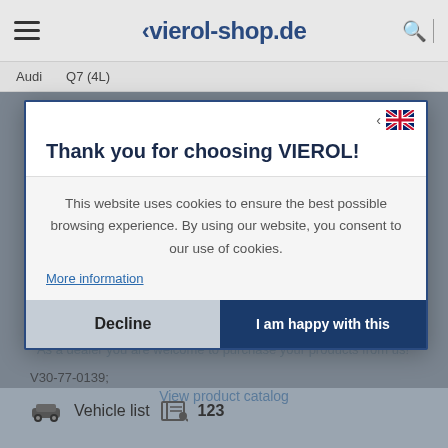vierol-shop.de
Audi   Q7 (4L)
Thank you for choosing VIEROL!
This website uses cookies to ensure the best possible browsing experience. By using our website, you consent to our use of cookies.
As a dealer you are welcome to purchase your products from us!
More information
Decline
I am happy with this
View product catalog
V30-77-0139;
Vehicle list   123